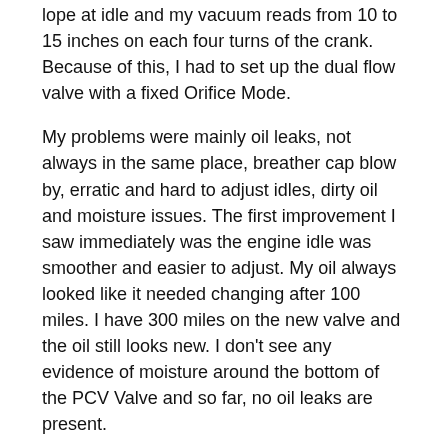lope at idle and my vacuum reads from 10 to 15 inches on each four turns of the crank. Because of this, I had to set up the dual flow valve with a fixed Orifice Mode.
My problems were mainly oil leaks, not always in the same place, breather cap blow by, erratic and hard to adjust idles, dirty oil and moisture issues. The first improvement I saw immediately was the engine idle was smoother and easier to adjust. My oil always looked like it needed changing after 100 miles. I have 300 miles on the new valve and the oil still looks new. I don't see any evidence of moisture around the bottom of the PCV Valve and so far, no oil leaks are present.
Some tips on the installation. I purchased the Morosso oil separator, M/O 85474, with the bottom drain valve, which makes draining very easy. I installed a tee in the piping where I can connect a vacuum gauge, and I machine polished every part that went into this install.
Rich Chiarenza